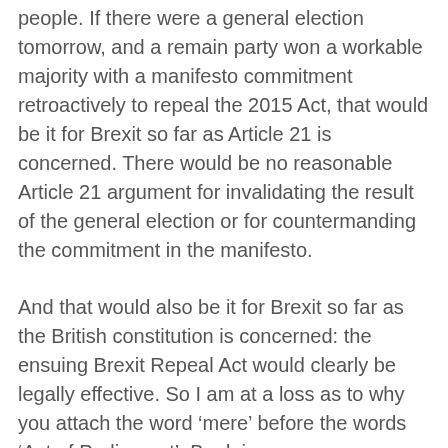people. If there were a general election tomorrow, and a remain party won a workable majority with a manifesto commitment retroactively to repeal the 2015 Act, that would be it for Brexit so far as Article 21 is concerned. There would be no reasonable Article 21 argument for invalidating the result of the general election or for countermanding the commitment in the manifesto.
And that would also be it for Brexit so far as the British constitution is concerned: the ensuing Brexit Repeal Act would clearly be legally effective. So I am at a loss as to why you attach the word ‘mere’ before the words ‘Act of Parliament’. By doing so you are reversing the long-established British constitutional position. Under our existing constitution, no Act of Parliament could possibly be ‘mere’. The question is why a *mere* referendum, that has whatever force it